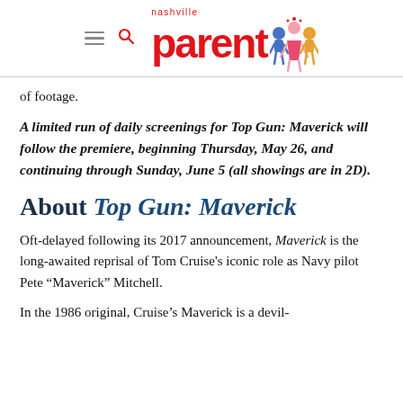nashville parent [logo with illustrated children]
of footage.
A limited run of daily screenings for Top Gun: Maverick will follow the premiere, beginning Thursday, May 26, and continuing through Sunday, June 5 (all showings are in 2D).
About Top Gun: Maverick
Oft-delayed following its 2017 announcement, Maverick is the long-awaited reprisal of Tom Cruise's iconic role as Navy pilot Pete “Maverick” Mitchell.
In the 1986 original, Cruise’s Maverick is a devil-